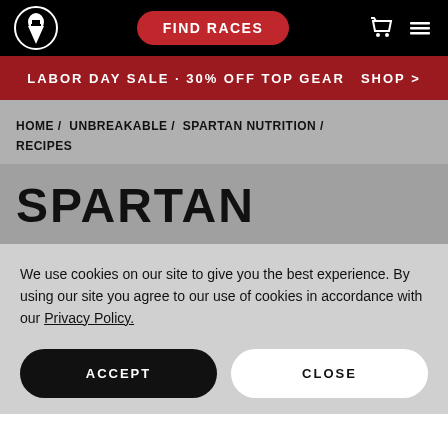[Figure (logo): Spartan race website navigation bar with logo, Find Races button, cart and menu icons on black background]
LABOR DAY SALE · 30% OFF TOP GEAR   SHOP >
HOME / UNBREAKABLE / SPARTAN NUTRITION / RECIPES
SPARTAN
We use cookies on our site to give you the best experience. By using our site you agree to our use of cookies in accordance with our Privacy Policy.
ACCEPT
CLOSE